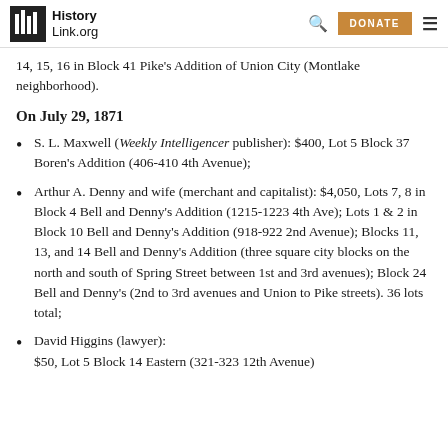HistoryLink.org
14, 15, 16 in Block 41 Pike's Addition of Union City (Montlake neighborhood).
On July 29, 1871
S. L. Maxwell (Weekly Intelligencer publisher): $400, Lot 5 Block 37 Boren's Addition (406-410 4th Avenue);
Arthur A. Denny and wife (merchant and capitalist): $4,050, Lots 7, 8 in Block 4 Bell and Denny's Addition (1215-1223 4th Ave); Lots 1 & 2 in Block 10 Bell and Denny's Addition (918-922 2nd Avenue); Blocks 11, 13, and 14 Bell and Denny's Addition (three square city blocks on the north and south of Spring Street between 1st and 3rd avenues); Block 24 Bell and Denny's (2nd to 3rd avenues and Union to Pike streets). 36 lots total;
David Higgins (lawyer): $50, Lot 5 Block 14 Eastern (321-323 12th Avenue)